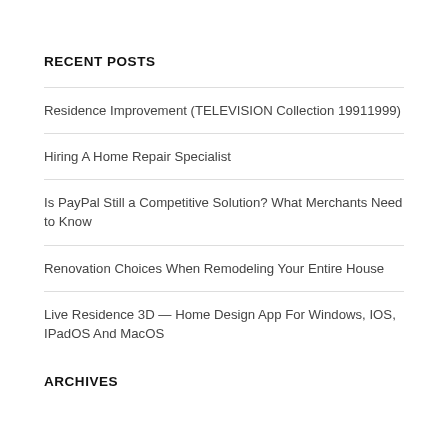RECENT POSTS
Residence Improvement (TELEVISION Collection 19911999)
Hiring A Home Repair Specialist
Is PayPal Still a Competitive Solution? What Merchants Need to Know
Renovation Choices When Remodeling Your Entire House
Live Residence 3D — Home Design App For Windows, IOS, IPadOS And MacOS
ARCHIVES